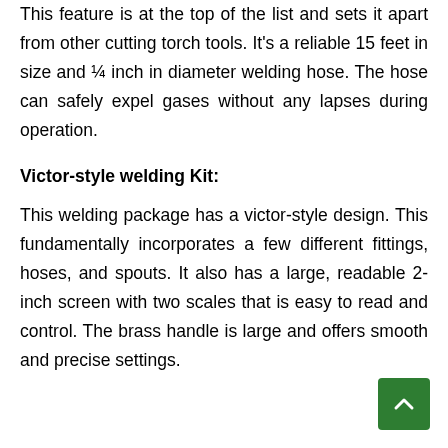This feature is at the top of the list and sets it apart from other cutting torch tools. It's a reliable 15 feet in size and ¼ inch in diameter welding hose. The hose can safely expel gases without any lapses during operation.
Victor-style welding Kit:
This welding package has a victor-style design. This fundamentally incorporates a few different fittings, hoses, and spouts. It also has a large, readable 2-inch screen with two scales that is easy to read and control. The brass handle is large and offers smooth and precise settings.